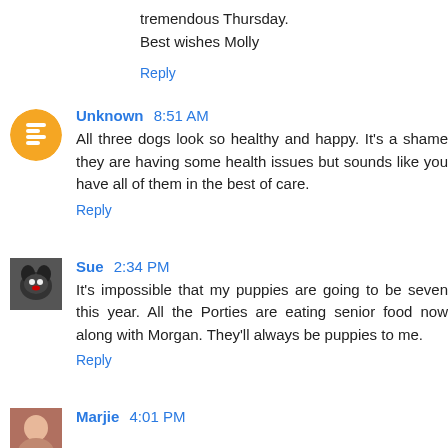tremendous Thursday.
Best wishes Molly
Reply
Unknown 8:51 AM
All three dogs look so healthy and happy. It's a shame they are having some health issues but sounds like you have all of them in the best of care.
Reply
Sue 2:34 PM
It's impossible that my puppies are going to be seven this year. All the Porties are eating senior food now along with Morgan. They'll always be puppies to me.
Reply
Marjie 4:01 PM